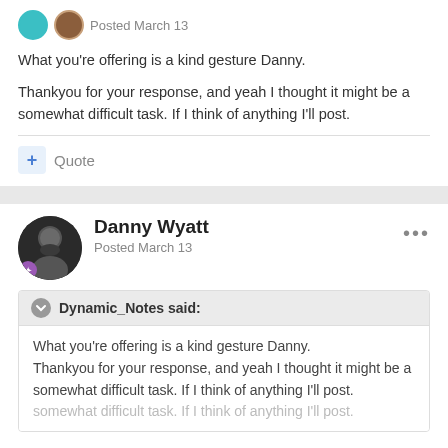Posted March 13
What you're offering is a kind gesture Danny.
Thankyou for your response, and yeah I thought it might be a somewhat difficult task. If I think of anything I'll post.
Quote
Danny Wyatt
Posted March 13
Dynamic_Notes said:
What you're offering is a kind gesture Danny.
Thankyou for your response, and yeah I thought it might be a somewhat difficult task. If I think of anything I'll post.